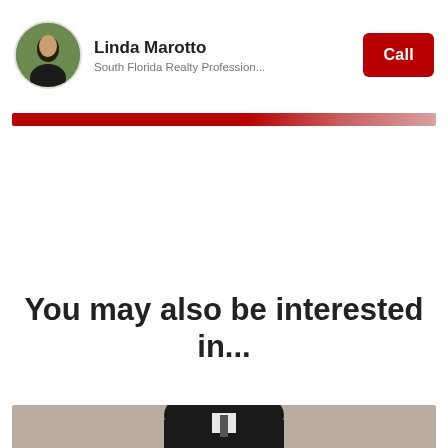Linda Marotto — South Florida Realty Profession... — Call
[Figure (photo): Screenshot of a real estate agent profile page header showing Linda Marotto with avatar photo, subtitle 'South Florida Realty Profession...' and a red Call button]
You may also be interested in...
[Figure (photo): Bottom portion of a photo showing a person in a dark suit and tie, partially cropped]